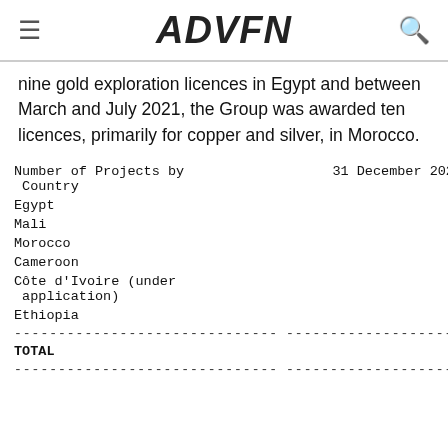ADVFN
nine gold exploration licences in Egypt and between March and July 2021, the Group was awarded ten licences, primarily for copper and silver, in Morocco.
| Number of Projects by Country | 31 December 2021 | 3 |
| --- | --- | --- |
| Egypt |  | 4 |
| Mali |  | 3 |
| Morocco |  | 14 |
| Cameroon |  | 2 |
| Côte d'Ivoire (under application) |  | 1 |
| Ethiopia |  | 2 |
| --- | --- | -- |
| TOTAL |  | 26 |
| --- | --- | -- |